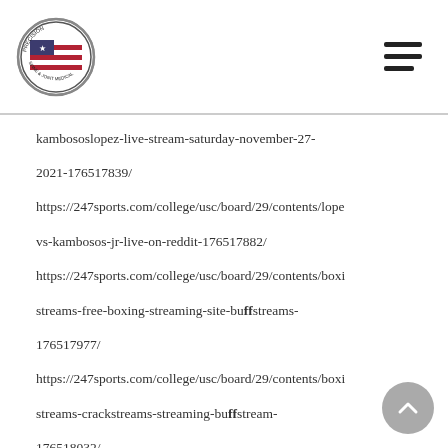Precision Spine & Joint Medical (logo) | Navigation menu
kambososlopez-live-stream-saturday-november-27-2021-176517839/ https://247sports.com/college/usc/board/29/contents/lopez-vs-kambosos-jr-live-on-reddit-176517882/ https://247sports.com/college/usc/board/29/contents/boxing-streams-free-boxing-streaming-site-buffstreams-176517977/ https://247sports.com/college/usc/board/29/contents/boxing-streams-crackstreams-streaming-buffstream-176518032/ https://247sports.com/college/usc/board/29/contents/reddit-boxing-streams-buffstreams-boxing-totalsportek-176518088/ https://247sports.com/college/usc/board/29/contents/liv...